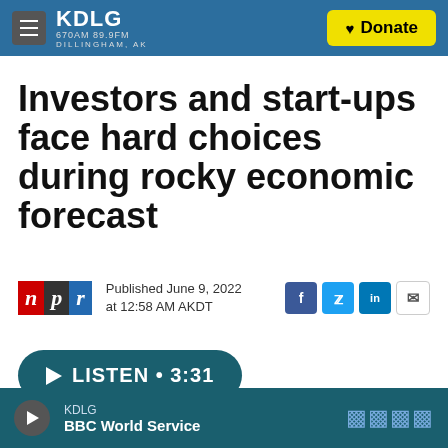KDLG 670AM 89.9FM DILLINGHAM, AK — Donate
Investors and start-ups face hard choices during rocky economic forecast
Published June 9, 2022 at 12:58 AM AKDT
LISTEN • 3:31
KDLG — BBC World Service